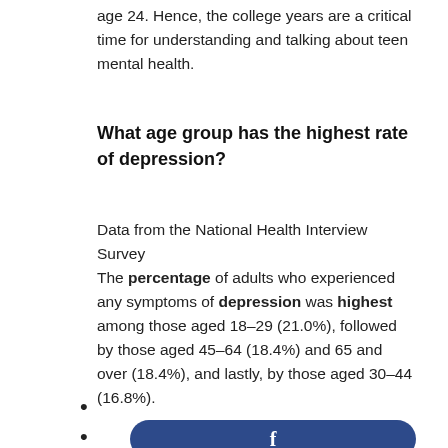age 24. Hence, the college years are a critical time for understanding and talking about teen mental health.
What age group has the highest rate of depression?
Data from the National Health Interview Survey
The percentage of adults who experienced any symptoms of depression was highest among those aged 18–29 (21.0%), followed by those aged 45–64 (18.4%) and 65 and over (18.4%), and lastly, by those aged 30–44 (16.8%).